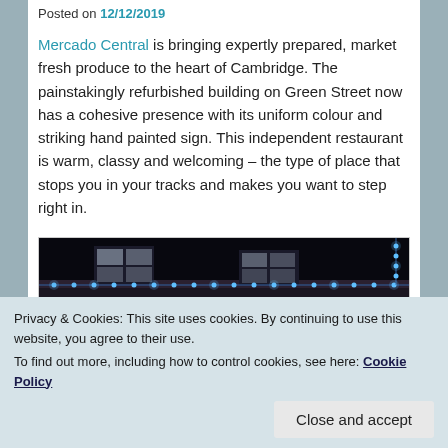Posted on 12/12/2019
Mercado Central is bringing expertly prepared, market fresh produce to the heart of Cambridge. The painstakingly refurbished building on Green Street now has a cohesive presence with its uniform colour and striking hand painted sign. This independent restaurant is warm, classy and welcoming – the type of place that stops you in your tracks and makes you want to step right in.
[Figure (photo): Night-time photo of a building exterior decorated with blue LED string lights along the roofline and edges, showing two windows visible in the dark facade.]
Privacy & Cookies: This site uses cookies. By continuing to use this website, you agree to their use.
To find out more, including how to control cookies, see here: Cookie Policy
Close and accept